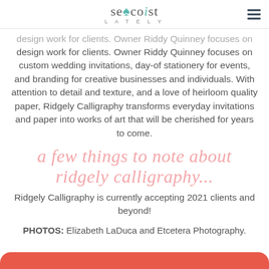Seacoast Lately
design work for clients. Owner Riddy Quinney focuses on custom wedding invitations, day-of stationery for events, and branding for creative businesses and individuals. With attention to detail and texture, and a love of heirloom quality paper, Ridgely Calligraphy transforms everyday invitations and paper into works of art that will be cherished for years to come.
a few things to note about ridgely calligraphy...
Ridgely Calligraphy is currently accepting 2021 clients and beyond!
PHOTOS: Elizabeth LaDuca and Etcetera Photography.